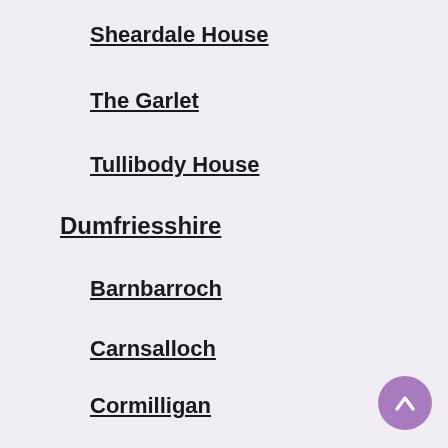Sheardale House
The Garlet
Tullibody House
Dumfriesshire
Barnbarroch
Carnsalloch
Cormilligan
Gelston castle
Kenmure castle